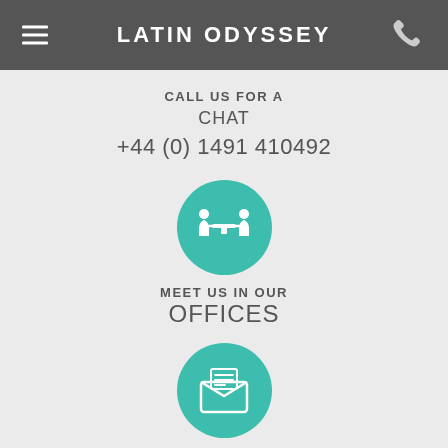LATIN ODYSSEY
CALL US FOR A CHAT
+44 (0) 1491 410492
[Figure (illustration): Teal circle icon with two people sitting at a table facing each other]
MEET US IN OUR OFFICES
[Figure (illustration): Teal circle icon with an open envelope and letter]
EMAIL US YOUR THOUGHTS